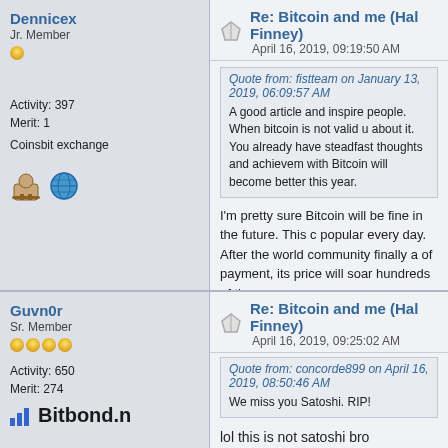Dennicex
Jr. Member
Activity: 397
Merit: 1
Coinsbit exchange
Re: Bitcoin and me (Hal Finney)
April 16, 2019, 09:19:50 AM
Quote from: fistteam on January 13, 2019, 06:09:57 AM
A good article and inspire people. When bitcoin is not valid u about it. You already have steadfast thoughts and achievem with Bitcoin will become better this year.
I'm pretty sure Bitcoin will be fine in the future. This c popular every day. After the world community finally a of payment, its price will soar hundreds of times.
Coinsbit is a new trading platform that provides businesses an Multi-Support, Strong Security, and Open API.
Guvn0r
Sr. Member
Activity: 650
Merit: 274
Re: Bitcoin and me (Hal Finney)
April 16, 2019, 09:25:02 AM
Quote from: concorde899 on April 16, 2019, 08:50:46 AM
We miss you Satoshi. RIP!
lol this is not satoshi bro
Quote from: Hal
For those who don't know me, I'm Hal Finney. I got my start PGP, working closely with Phil Zimmermann. When Phil dec the first hires. I would work on PGP until my retirement. At th